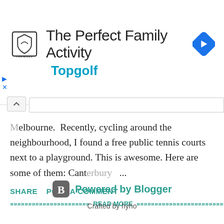[Figure (screenshot): Topgolf advertisement banner with logo, title 'The Perfect Family Activity', subtitle 'Topgolf', navigation arrow icon, and ad controls (play and close buttons)]
Melbourne.  Recently, cycling around the neighbourhood, I found a free public tennis courts next to a playground. This is awesome. Here are some of them: Canterbury ...
SHARE   POST A COMMENT
»»»»»»»»»»»»»»»»»»»»»» READ MORE »»»»»»»»»»»»»»»»»»»»»»»»»
[Figure (logo): Blogger logo icon - grey rounded square with B]
Powered by Blogger
Crafted by hyho